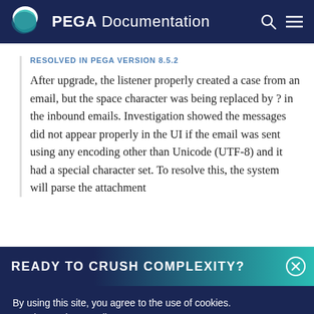PEGA Documentation
RESOLVED IN PEGA VERSION 8.5.2
After upgrade, the listener properly created a case from an email, but the space character was being replaced by ? in the inbound emails. Investigation showed the messages did not appear properly in the UI if the email was sent using any encoding other than Unicode (UTF-8) and it had a special character set. To resolve this, the system will parse the attachment
READY TO CRUSH COMPLEXITY?
By using this site, you agree to the use of cookies.
Read our Privacy Policy
Accept and continue
About cookies